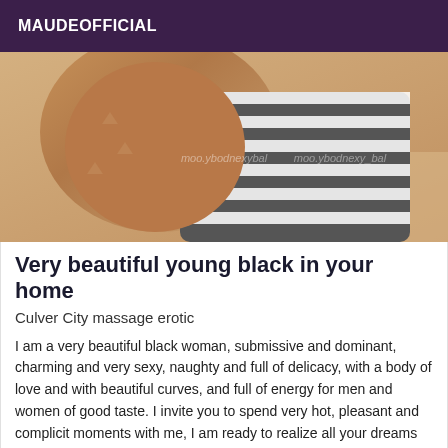MAUDEOFFICIAL
[Figure (photo): Close-up photo of a person wearing a black and white striped top, with a watermark from ladyxenybody.com]
Very beautiful young black in your home
Culver City massage erotic
I am a very beautiful black woman, submissive and dominant, charming and very sexy, naughty and full of delicacy, with a body of love and with beautiful curves, and full of energy for men and women of good taste. I invite you to spend very hot, pleasant and complicit moments with me, I am ready to realize all your dreams and fantasies ...